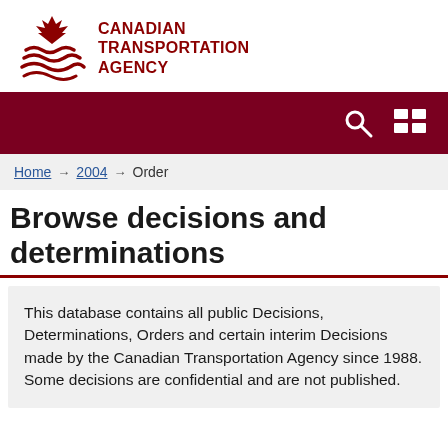[Figure (logo): Canadian Transportation Agency logo with maple leaf / wave emblem and agency name in dark red uppercase text]
[Figure (screenshot): Dark red navigation bar with search icon and grid/menu icon on the right]
Home → 2004 → Order
Browse decisions and determinations
This database contains all public Decisions, Determinations, Orders and certain interim Decisions made by the Canadian Transportation Agency since 1988. Some decisions are confidential and are not published.